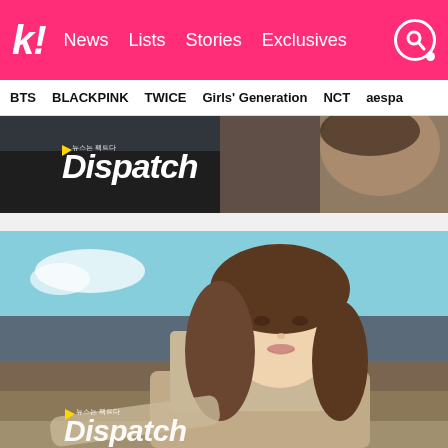k! News Lists Stories Exclusives
BTS BLACKPINK TWICE Girls' Generation NCT aespa
[Figure (photo): Dispatch banner advertisement showing a young woman with long dark hair, Dispatch logo in white italic font with Korean text and yellow play icon]
[Figure (photo): Main article photo: young Asian woman with long brown hair looking over her shoulder, smiling, wearing a beige/tan coat, outdoor landscape with sky and water in background. Dispatch logo watermark in lower left corner.]